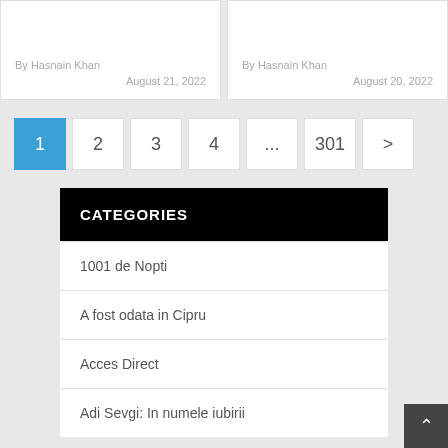By Hasnain Khan
August 21, 2022
By Hasnain Khan
August 20, 2022
1
2
3
4
...
301
>
CATEGORIES
1001 de Nopti
A fost odata in Cipru
Acces Direct
Adi Sevgi: In numele iubirii